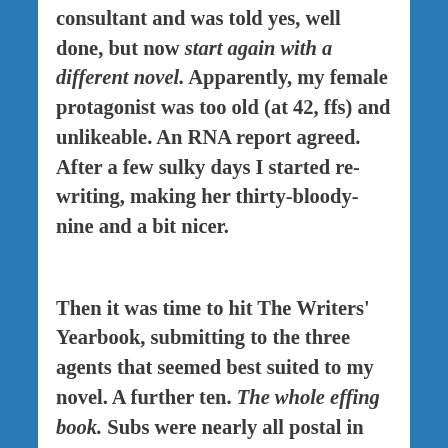consultant and was told yes, well done, but now start again with a different novel. Apparently, my female protagonist was too old (at 42, ffs) and unlikeable. An RNA report agreed. After a few sulky days I started re-writing, making her thirty-bloody-nine and a bit nicer.
Then it was time to hit The Writers' Yearbook, submitting to the three agents that seemed best suited to my novel. A further ten. The whole effing book. Subs were nearly all postal in those days; my desk became a one-woman sorting office – and soon had a heaped tray of 'not quite right for us' letters.